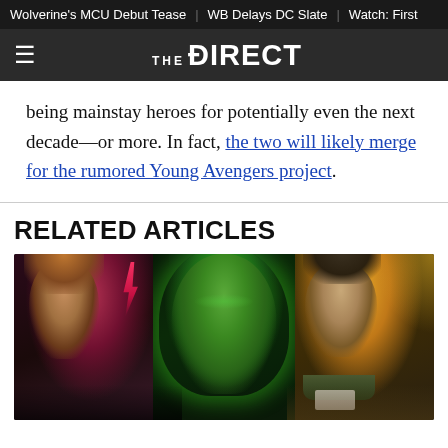Wolverine's MCU Debut Tease | WB Delays DC Slate | Watch: First
THE DIRECT
being mainstay heroes for potentially even the next decade—or more. In fact, the two will likely merge for the rumored Young Avengers project.
RELATED ARTICLES
[Figure (photo): Composite promotional image showing Marvel Disney+ characters including Scarlet Witch/Wanda (left with red lightning), She-Hulk (center, green, with neon glow), and Loki (right, with golden light). Additional characters visible at bottom.]